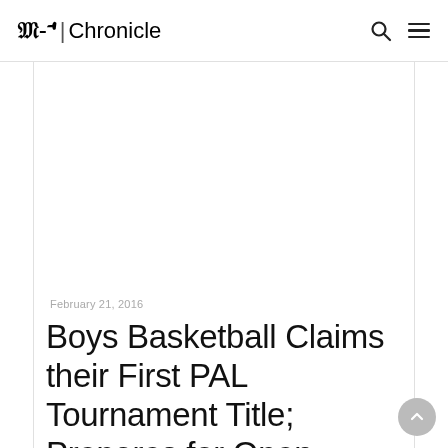M-A | Chronicle
[Figure (photo): Blank/white image placeholder area above article content]
February 21, 2016
Boys Basketball Claims their First PAL Tournament Title; Prepares for Open